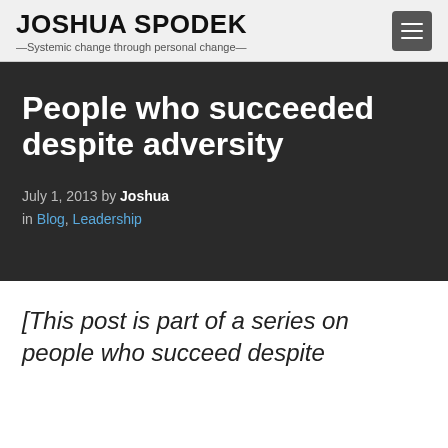JOSHUA SPODEK —Systemic change through personal change—
People who succeeded despite adversity
July 1, 2013 by Joshua in Blog, Leadership
[This post is part of a series on people who succeed despite